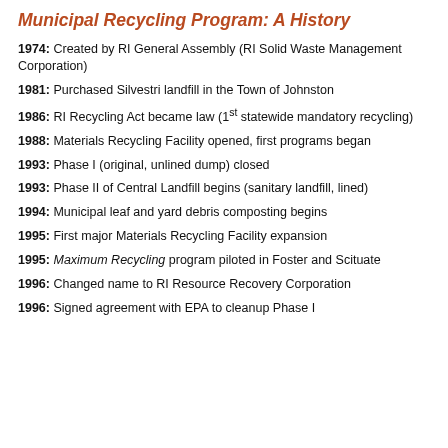Municipal Recycling Program: A History
1974: Created by RI General Assembly (RI Solid Waste Management Corporation)
1981: Purchased Silvestri landfill in the Town of Johnston
1986: RI Recycling Act became law (1st statewide mandatory recycling)
1988: Materials Recycling Facility opened, first programs began
1993: Phase I (original, unlined dump) closed
1993: Phase II of Central Landfill begins (sanitary landfill, lined)
1994: Municipal leaf and yard debris composting begins
1995: First major Materials Recycling Facility expansion
1995: Maximum Recycling program piloted in Foster and Scituate
1996: Changed name to RI Resource Recovery Corporation
1996: Signed agreement with EPA to cleanup Phase I